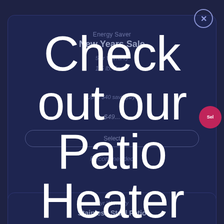[Figure (screenshot): Mobile app screenshot showing a product listing page with dark navy blue background. Two product cards are visible but dimmed. The top card shows 'Energy Saver', 'New Years Sale', '5 yr Warranty', '1.5 lb. Foam', 'Up to $40 savings/yr', a price, a Select button, and 'Recommended' text. A pink circular badge is visible. A close (X) button appears top right inside a circle. The bottom card shows '5 yr Warranty' and 'Stainless Steel Patio' text. Over the entire screen is a large white overlay popup text reading 'Check out our Patio Heater'.]